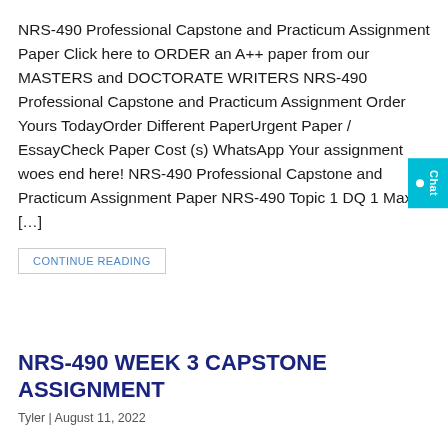NRS-490 Professional Capstone and Practicum Assignment Paper Click here to ORDER an A++ paper from our MASTERS and DOCTORATE WRITERS NRS-490 Professional Capstone and Practicum Assignment Order Yours TodayOrder Different PaperUrgent Paper / EssayCheck Paper Cost (s) WhatsApp Your assignment woes end here! NRS-490 Professional Capstone and Practicum Assignment Paper NRS-490 Topic 1 DQ 1 Max […]
CONTINUE READING
NRS-490 WEEK 3 CAPSTONE ASSIGNMENT
Tyler | August 11, 2022